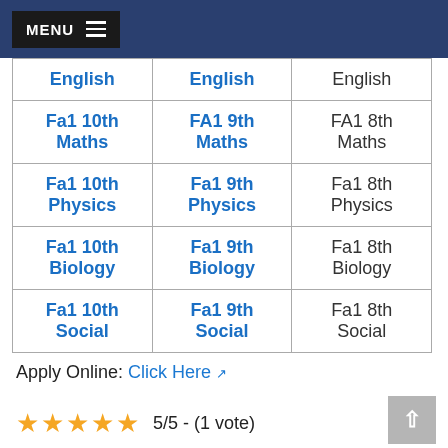MENU
| English | English | English |
| Fa1 10th Maths | FA1 9th Maths | FA1 8th Maths |
| Fa1 10th Physics | Fa1 9th Physics | Fa1 8th Physics |
| Fa1 10th Biology | Fa1 9th Biology | Fa1 8th Biology |
| Fa1 10th Social | Fa1 9th Social | Fa1 8th Social |
Apply Online: Click Here
5/5 - (1 vote)